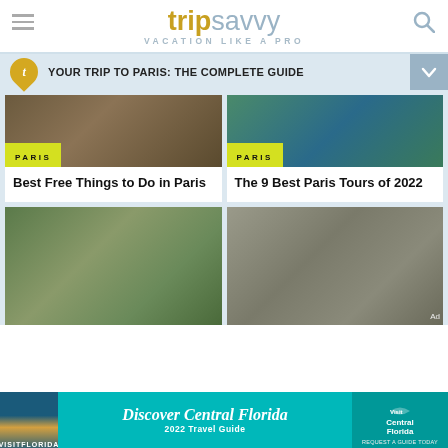tripsavvy VACATION LIKE A PRO
YOUR TRIP TO PARIS: THE COMPLETE GUIDE
[Figure (photo): Paris architecture rooftop view with PARIS badge]
Best Free Things to Do in Paris
[Figure (photo): Seine river with bridge Paris tours photo with PARIS badge]
The 9 Best Paris Tours of 2022
[Figure (photo): Saint-Michel fountain Paris with trees]
[Figure (photo): Notre-Dame Cathedral Paris river view]
[Figure (photo): Discover Central Florida 2022 Travel Guide advertisement banner]